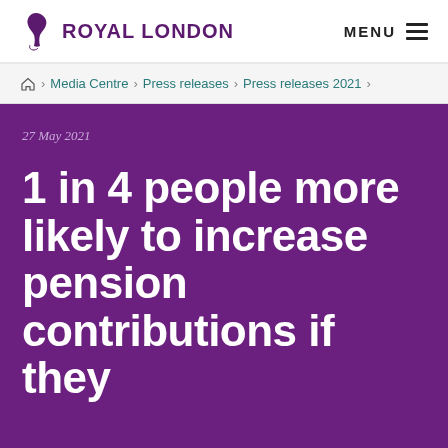ROYAL LONDON | MENU
Home > Media Centre > Press releases > Press releases 2021 >
27 May 2021
1 in 4 people more likely to increase pension contributions if they